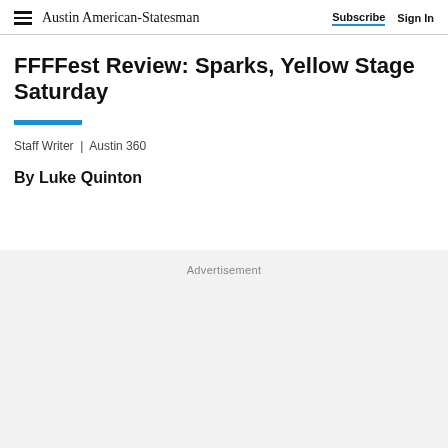Austin American-Statesman | Subscribe  Sign In
FFFFest Review: Sparks, Yellow Stage Saturday
Staff Writer  |  Austin 360
By Luke Quinton
Advertisement